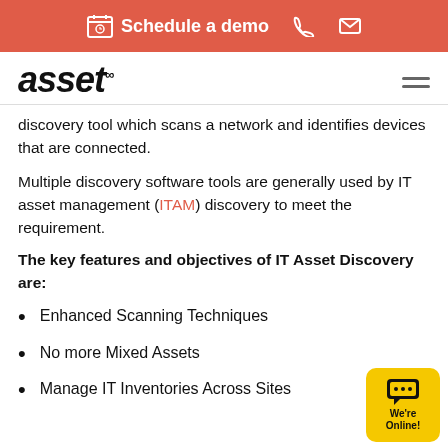Schedule a demo
[Figure (logo): assetcs logo in bold italic black font]
discovery tool which scans a network and identifies devices that are connected.
Multiple discovery software tools are generally used by IT asset management (ITAM) discovery to meet the requirement.
The key features and objectives of IT Asset Discovery are:
Enhanced Scanning Techniques
No more Mixed Assets
Manage IT Inventories Across Sites